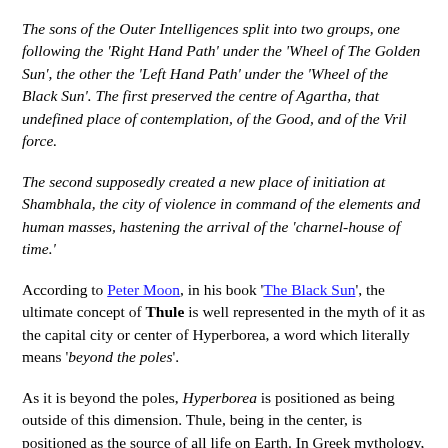The sons of the Outer Intelligences split into two groups, one following the 'Right Hand Path' under the 'Wheel of The Golden Sun', the other the 'Left Hand Path' under the 'Wheel of the Black Sun'. The first preserved the centre of Agartha, that undefined place of contemplation, of the Good, and of the Vril force.
The second supposedly created a new place of initiation at Shambhala, the city of violence in command of the elements and human masses, hastening the arrival of the 'charnel-house of time.'
According to Peter Moon, in his book 'The Black Sun', the ultimate concept of Thule is well represented in the myth of it as the capital city or center of Hyperborea, a word which literally means 'beyond the poles'.
As it is beyond the poles, Hyperborea is positioned as being outside of this dimension. Thule, being in the center, is positioned as the source of all life on Earth. In Greek mythology, Pythagoras was taught sacred geometry by Apollo, a god who was identified as a resident of Hyperborea